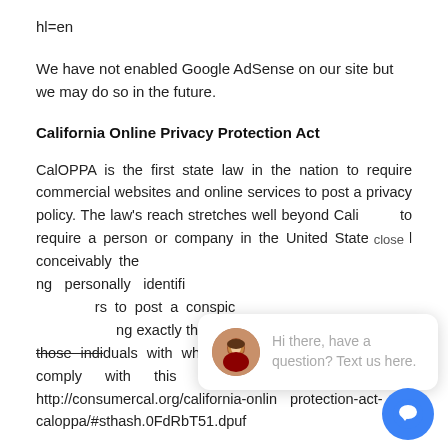hl=en
We have not enabled Google AdSense on our site but we may do so in the future.
California Online Privacy Protection Act
CalOPPA is the first state law in the nation to require commercial websites and online services to post a privacy policy. The law's reach stretches well beyond California to require a person or company in the United States (and conceivably the world) that operates websites collecting personally identifiable information from California consumers to post a conspicuous privacy policy on its website stating exactly the information being collected and those individuals with whom it is being shared, and to comply with this policy. - See more at: http://consumercal.org/california-online-privacy-protection-act-caloppa/#sthash.0FdRbT51.dpuf
[Figure (screenshot): Chat popup overlay with avatar photo of woman, text 'Hi there, have a question? Text us here.' in gray, close button label, and blue circular chat button in bottom right corner.]